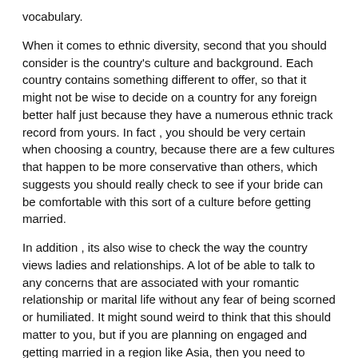vocabulary.
When it comes to ethnic diversity, second that you should consider is the country’s culture and background. Each country contains something different to offer, so that it might not be wise to decide on a country for any foreign better half just because they have a numerous ethnic track record from yours. In fact , you should be very certain when choosing a country, because there are a few cultures that happen to be more conservative than others, which suggests you should really check to see if your bride can be comfortable with this sort of a culture before getting married.
In addition , its also wise to check the way the country views ladies and relationships. A lot of be able to talk to any concerns that are associated with your romantic relationship or marital life without any fear of being scorned or humiliated. It might sound weird to think that this should matter to you, but if you are planning on engaged and getting married in a region like Asia, then you need to make sure that your bride-to-be feels that she is secure enough along and will be